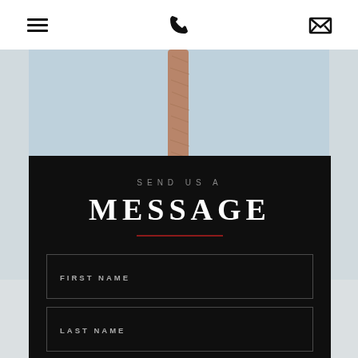Navigation header with hamburger menu, phone icon, and email icon
[Figure (photo): Outdoor photo showing a pale blue sky with a tall palm tree trunk visible in the center, and a white wall or structure at the bottom]
SEND US A MESSAGE
FIRST NAME
LAST NAME